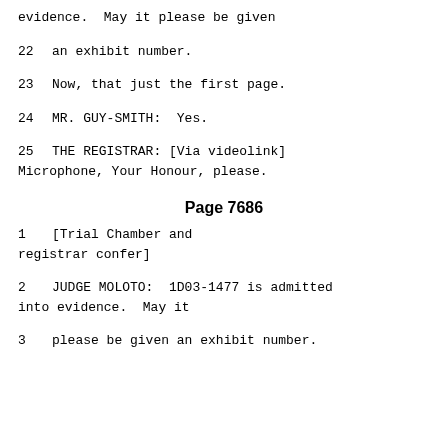evidence.  May it please be given
22     an exhibit number.
23             Now, that just the first page.
24             MR. GUY-SMITH:  Yes.
25             THE REGISTRAR: [Via videolink] Microphone, Your Honour, please.
Page 7686
1                              [Trial Chamber and registrar confer]
2             JUDGE MOLOTO:  1D03-1477 is admitted into evidence.  May it
3     please be given an exhibit number.